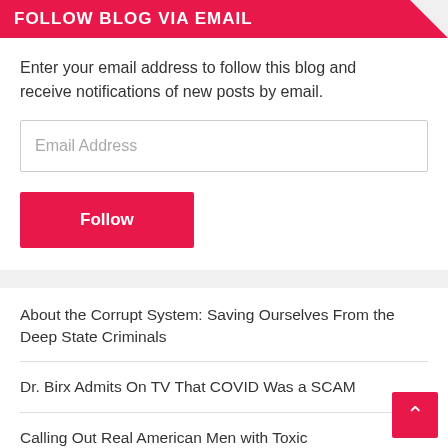FOLLOW BLOG VIA EMAIL
Enter your email address to follow this blog and receive notifications of new posts by email.
Email Address
Follow
About the Corrupt System: Saving Ourselves From the Deep State Criminals
Dr. Birx Admits On TV That COVID Was a SCAM
Calling Out Real American Men with Toxic